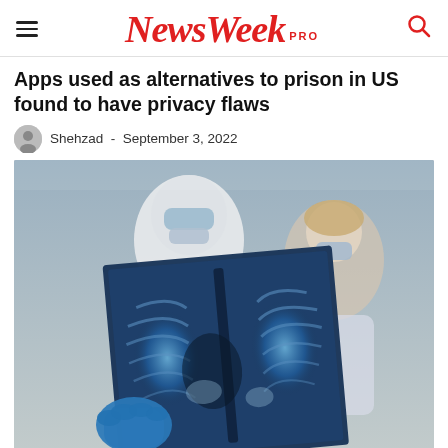NewsWeek PRO
Apps used as alternatives to prison in US found to have privacy flaws
Shehzad - September 3, 2022
[Figure (photo): A healthcare worker in full PPE protective suit and mask holding up a chest X-ray to examine it, with a blonde woman in a medical mask seated in the background]